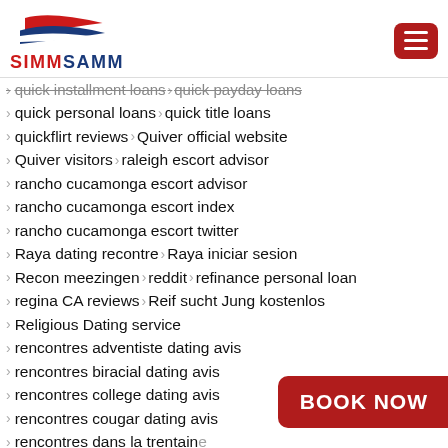SIMMSAMM logo and navigation menu button
quick installment loans  quick payday loans
quick personal loans  quick title loans
quickflirt reviews  Quiver official website
Quiver visitors  raleigh escort advisor
rancho cucamonga escort advisor
rancho cucamonga escort index
rancho cucamonga escort twitter
Raya dating recontre  Raya iniciar sesion
Recon meezingen  reddit  refinance personal loan
regina CA reviews  Reif sucht Jung kostenlos
Religious Dating service
rencontres adventiste dating avis
rencontres biracial dating avis
rencontres college dating avis
rencontres cougar dating avis
rencontres dans la trentaine
rencontres heterosexuelles